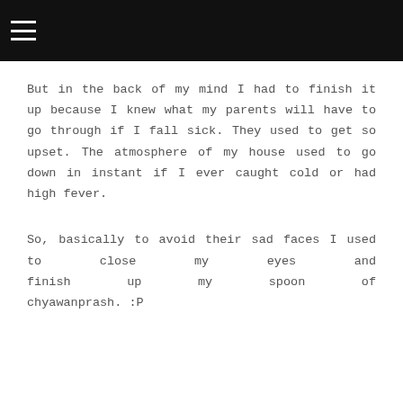But in the back of my mind I had to finish it up because I knew what my parents will have to go through if I fall sick. They used to get so upset. The atmosphere of my house used to go down in instant if I ever caught cold or had high fever.
So, basically to avoid their sad faces I used to close my eyes and finish up my spoon of chyawanprash. :P